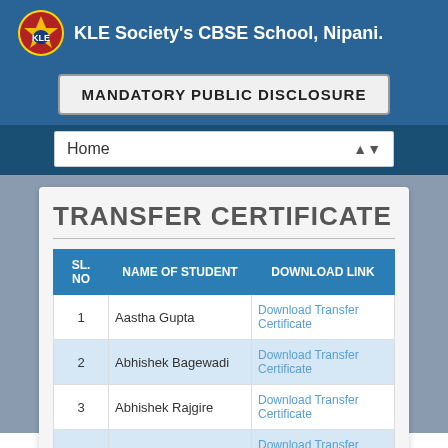KLE Society's CBSE School, Nipani.
MANDATORY PUBLIC DISCLOSURE
Home
TRANSFER CERTIFICATE
| SL. NO | NAME OF STUDENT | DOWNLOAD LINK |
| --- | --- | --- |
| 1 | Aastha Gupta | Download Transfer Certificate |
| 2 | Abhishek Bagewadi | Download Transfer Certificate |
| 3 | Abhishek Rajgire | Download Transfer Certificate |
| 4 | Abusufiyan Ramdurg | Download Transfer Certificate |